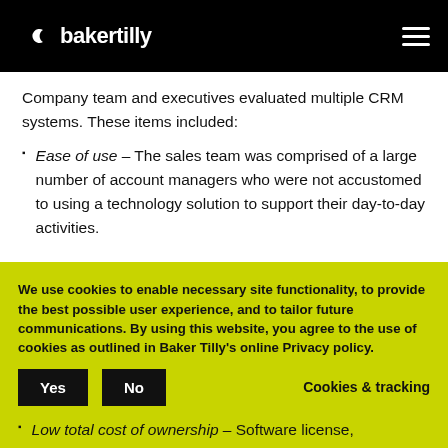bakertilly
Company team and executives evaluated multiple CRM systems. These items included:
Ease of use – The sales team was comprised of a large number of account managers who were not accustomed to using a technology solution to support their day-to-day activities.
We use cookies to enable necessary site functionality, to provide the best possible user experience, and to tailor future communications. By using this website, you agree to the use of cookies as outlined in Baker Tilly's online Privacy policy.
Low total cost of ownership – Software license,